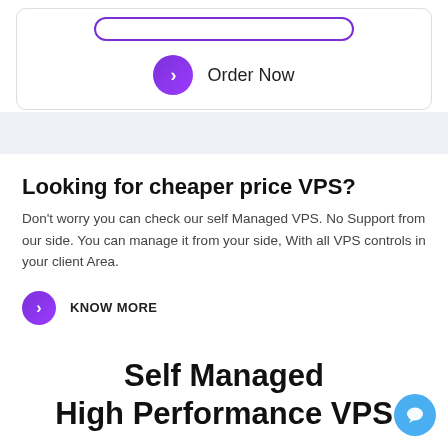[Figure (screenshot): A rounded card UI element with a purple outlined pill/bar at the top and an Order Now button with a purple chevron circle icon]
Order Now
Looking for cheaper price VPS?
Don't worry you can check our self Managed VPS. No Support from our side. You can manage it from your side, With all VPS controls in your client Area.
KNOW MORE
Self Managed High Performance VPS